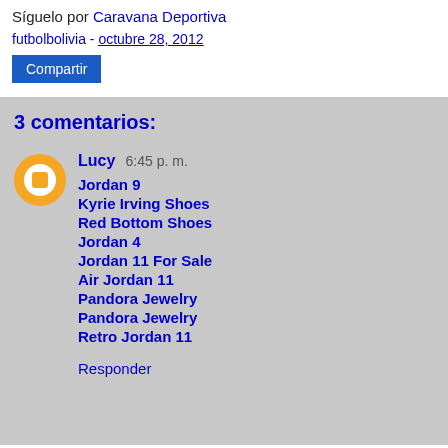Síguelo por Caravana Deportiva
futbolbolivia - octubre 28, 2012
Compartir
3 comentarios:
Lucy 6:45 p. m.
Jordan 9
Kyrie Irving Shoes
Red Bottom Shoes
Jordan 4
Jordan 11 For Sale
Air Jordan 11
Pandora Jewelry
Pandora Jewelry
Retro Jordan 11
Responder